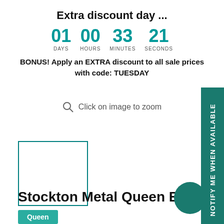Extra discount day ...
01 DAYS  00 HOURS  33 MINUTES  21 SECONDS
BONUS! Apply an EXTRA discount to all sale prices with code: TUESDAY
Click on image to zoom
[Figure (other): Thumbnail image placeholder box with teal border]
NOTIFY ME WHEN AVAILABLE
Stockton Metal Queen Bed Fra
Queen